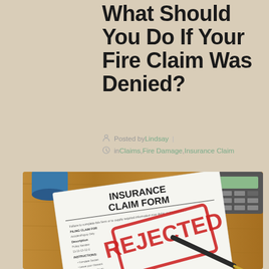What Should You Do If Your Fire Claim Was Denied?
Posted by Lindsay | in Claims, Fire Damage, Insurance Claim
[Figure (photo): Photo of an Insurance Claim Form document on a wooden desk with a pen and calculator, stamped with a red REJECTED stamp]